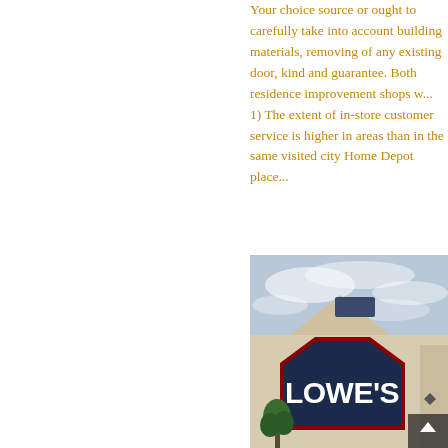Your choice source or ought to carefully take into account building materials, removing of any existing door, kind and guarantee. Both residence improvement shops w... 1) The extent of in-store customer service is higher in areas than in the same visited city Home Depot place...
[Figure (photo): Photograph of a Lowe's home improvement store exterior showing the building facade with the Lowe's logo sign (white letters on dark navy blue house-shaped sign with red border), beige/tan building walls, and a partly cloudy sky background.]